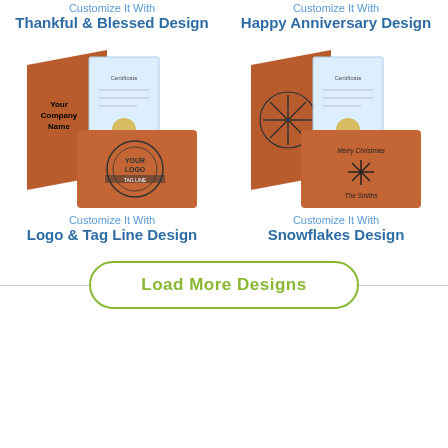Customize It With
Thankful & Blessed Design
Customize It With
Happy Anniversary Design
[Figure (photo): Brown leatherette certificate folder open showing certificate inside, with front cover showing 'Your Company Name' text and logo badge design]
[Figure (photo): Brown leatherette certificate folder open showing certificate inside, with front cover showing snowflake design and 'Merry Christmas The Smiths' text]
Customize It With
Logo & Tag Line Design
Customize It With
Snowflakes Design
Load More Designs